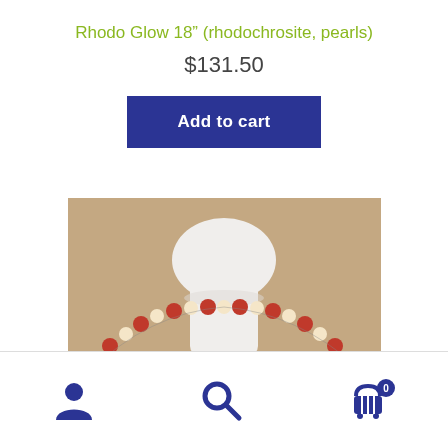Rhodo Glow 18” (rhodochrosite, pearls)
$131.50
Add to cart
[Figure (photo): A white jewelry bust/mannequin neck display showing a beaded necklace made of alternating red rhodochrosite and cream pearl beads, against a tan/beige background.]
[Figure (other): Footer navigation icons: user/account icon, search/magnifying glass icon, and shopping cart icon with badge showing 0]